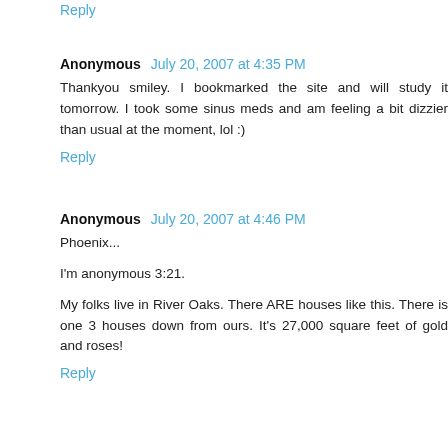Reply
Anonymous  July 20, 2007 at 4:35 PM
Thankyou smiley. I bookmarked the site and will study it tomorrow. I took some sinus meds and am feeling a bit dizzier than usual at the moment, lol :)
Reply
Anonymous  July 20, 2007 at 4:46 PM
Phoenix...
I'm anonymous 3:21.
My folks live in River Oaks. There ARE houses like this. There is one 3 houses down from ours. It's 27,000 square feet of gold and roses!
Reply